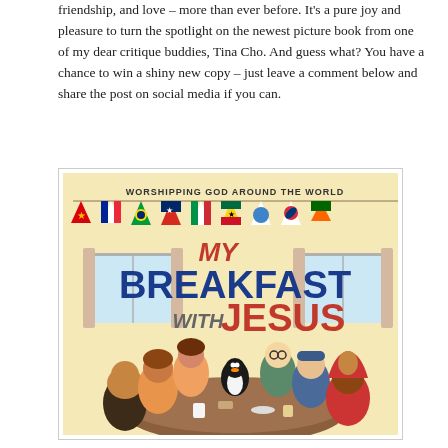friendship, and love – more than ever before. It's a pure joy and pleasure to turn the spotlight on the newest picture book from one of my dear critique buddies, Tina Cho. And guess what? You have a chance to win a shiny new copy – just leave a comment below and share the post on social media if you can.
[Figure (illustration): Book cover of 'My Breakfast with Jesus' by Tina Cho, subtitled 'Worshipping God Around the World'. Shows diverse children sitting around a breakfast table with a penguin. Colorful national flags as bunting decorate the top.]